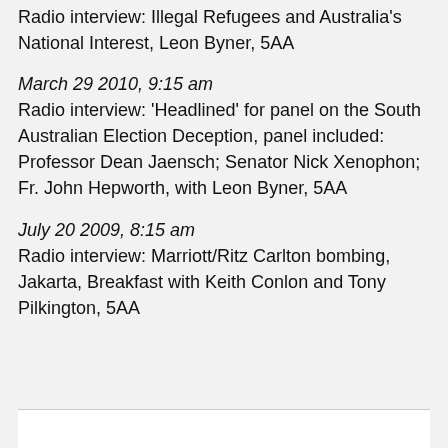Radio interview: Illegal Refugees and Australia's National Interest, Leon Byner, 5AA
March 29 2010, 9:15 am
Radio interview: 'Headlined' for panel on the South Australian Election Deception, panel included: Professor Dean Jaensch; Senator Nick Xenophon; Fr. John Hepworth, with Leon Byner, 5AA
July 20 2009, 8:15 am
Radio interview: Marriott/Ritz Carlton bombing, Jakarta, Breakfast with Keith Conlon and Tony Pilkington, 5AA